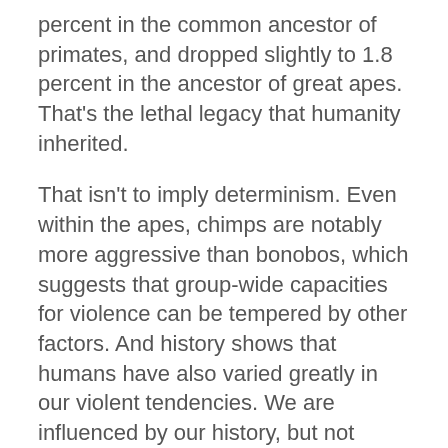percent in the common ancestor of primates, and dropped slightly to 1.8 percent in the ancestor of great apes. That's the lethal legacy that humanity inherited.
That isn't to imply determinism. Even within the apes, chimps are notably more aggressive than bonobos, which suggests that group-wide capacities for violence can be tempered by other factors. And history shows that humans have also varied greatly in our violent tendencies. We are influenced by our history, but not saddled to it.
Gómez's team showed that by poring through statistical yearbooks, archaeological sites, and more, to work out causes of death in 600 human populations between